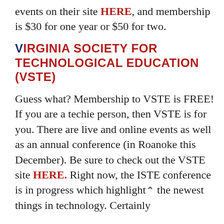events on their site HERE, and membership is $30 for one year or $50 for two.
VIRGINIA SOCIETY FOR TECHNOLOGICAL EDUCATION (VSTE)
Guess what? Membership to VSTE is FREE! If you are a techie person, then VSTE is for you. There are live and online events as well as an annual conference (in Roanoke this December). Be sure to check out the VSTE site HERE. Right now, the ISTE conference is in progress which highlights the newest things in technology. Certainly